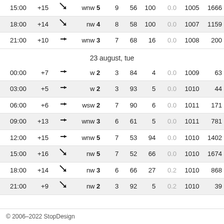| Time | Temp | Dir | Wind |  | Humidity | Cloud | Precip | Pressure |  |
| --- | --- | --- | --- | --- | --- | --- | --- | --- | --- |
| 15:00 | +15 | ↘ | wnw 5 | 9 | 56 | 100 | 0.0 | 1005 | 1666 |
| 18:00 | +14 | ↘ | nw 4 | 8 | 58 | 100 | 0.0 | 1007 | 1159 |
| 21:00 | +10 | → | wnw 3 | 7 | 68 | 16 | 0.0 | 1008 | 200 |
23 august, tue
| 00:00 | +7 | → | w 2 | 3 | 84 | 4 | 0.0 | 1009 | 63 |
| 03:00 | +5 | → | w 2 | 3 | 93 | 5 | 0.0 | 1010 | 44 |
| 06:00 | +6 | → | wsw 2 | 7 | 90 | 6 | 0.0 | 1011 | 171 |
| 09:00 | +13 | → | wnw 3 | 6 | 61 | 5 | 0.0 | 1011 | 781 |
| 12:00 | +15 | → | wnw 5 | 7 | 53 | 94 | 0.0 | 1010 | 1402 |
| 15:00 | +16 | ↘ | nw 5 | 7 | 52 | 66 | 0.0 | 1010 | 1674 |
| 18:00 | +14 | ↘ | nw 3 | 6 | 66 | 27 | 0.2 | 1010 | 868 |
| 21:00 | +9 | ↘ | nw 2 | 3 | 92 | 5 | 0.2 | 1010 | 39 |
© 2006–2022 StopDesign